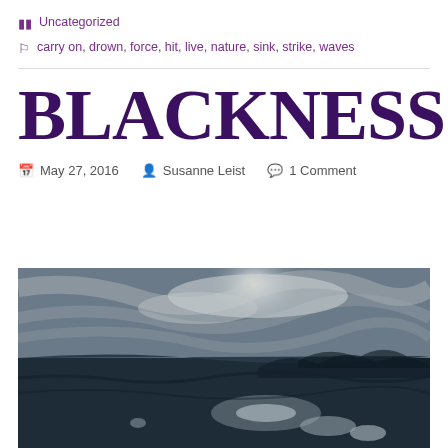Uncategorized
carry on, drown, force, hit, live, nature, sink, strike, waves
BLACKNESS
May 27, 2016   Susanne Leist   1 Comment
[Figure (photo): Underwater or water-surface photograph showing sky with swirling clouds, sunlight, and dark water reflections in dark blue-grey tones]